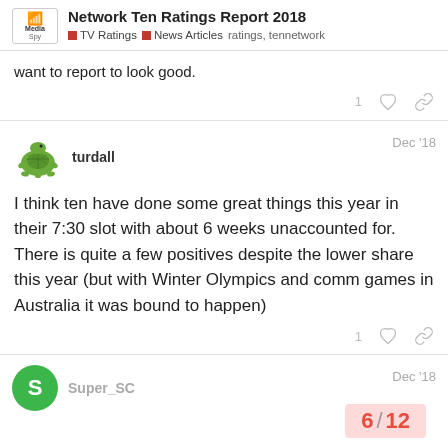Network Ten Ratings Report 2018 | TV Ratings | News Articles | ratings, tennetwork
want to report to look good.
turdall — Dec '18
I think ten have done some great things this year in their 7:30 slot with about 6 weeks unaccounted for. There is quite a few positives despite the lower share this year (but with Winter Olympics and comm games in Australia it was bound to happen)
Super_SC — Dec '18
6 / 12